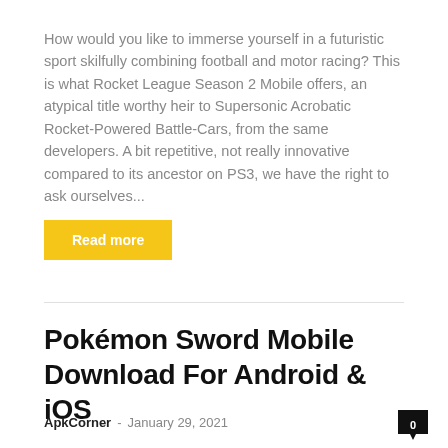How would you like to immerse yourself in a futuristic sport skilfully combining football and motor racing? This is what Rocket League Season 2 Mobile offers, an atypical title worthy heir to Supersonic Acrobatic Rocket-Powered Battle-Cars, from the same developers. A bit repetitive, not really innovative compared to its ancestor on PS3, we have the right to ask ourselves...
Read more
Pokémon Sword Mobile Download For Android & iOS
ApkCorner - January 29, 2021